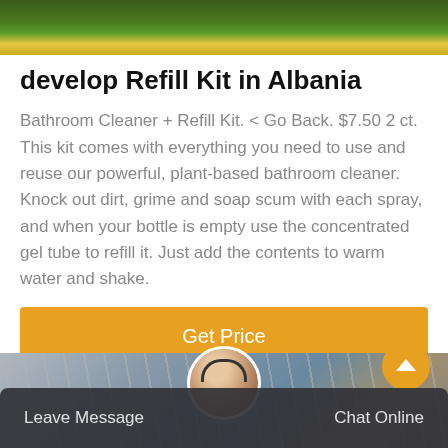[Figure (photo): Partial view of a green field or sports ground with a yellow line, aerial/top perspective]
develop Refill Kit in Albania
Bathroom Cleaner + Refill Kit. < Go Back. $7.50 2 ct. This kit comes with everything you need to use and reuse our powerful, plant-based bathroom cleaner. Knock out dirt, grime and soap scum with each spray, and when your bottle is empty use the concentrated gel tube to refill it. Just add the contents to warm water and shake.
[Figure (other): Orange/amber 'Get Price' button]
[Figure (photo): Industrial scene with cranes and masts against a grey sky]
Leave Message    Chat Online